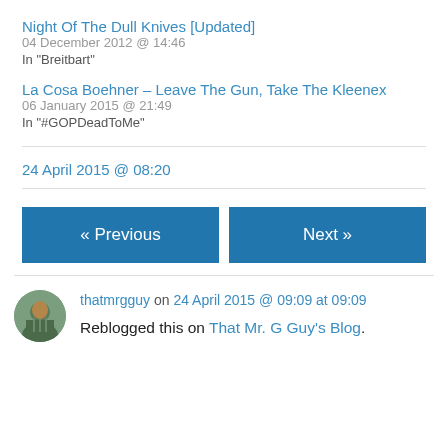Night Of The Dull Knives [Updated]
04 December 2012 @ 14:46
In "Breitbart"
La Cosa Boehner – Leave The Gun, Take The Kleenex
06 January 2015 @ 21:49
In "#GOPDeadToMe"
24 April 2015 @ 08:20
« Previous
Next »
thatmrgguy on 24 April 2015 @ 09:09 at 09:09
Reblogged this on That Mr. G Guy's Blog.